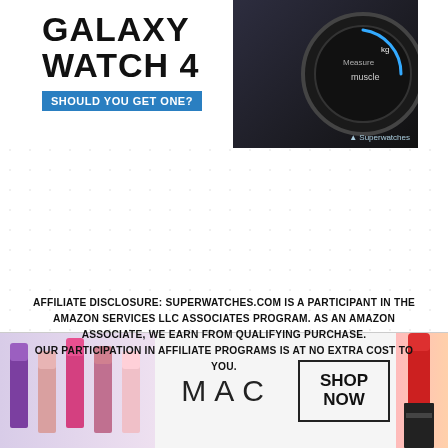[Figure (illustration): Samsung Galaxy Watch 4 promotional banner with bold black text 'GALAXY WATCH 4' on white background, blue pill label 'SHOULD YOU GET ONE?', dark background with smartwatch image showing circular face, Superwatches logo at bottom right]
AFFILIATE DISCLOSURE: SUPERWATCHES.COM IS A PARTICIPANT IN THE AMAZON SERVICES LLC ASSOCIATES PROGRAM. AS AN AMAZON ASSOCIATE, WE EARN FROM QUALIFYING PURCHASE.
OUR PARTICIPATION IN AFFILIATE PROGRAMS IS AT NO EXTRA COST TO YOU.
[Figure (advertisement): MAC Cosmetics advertisement banner showing colorful lipsticks on left, MAC logo in center, 'SHOP NOW' in bordered box on right, red lipstick on far right]